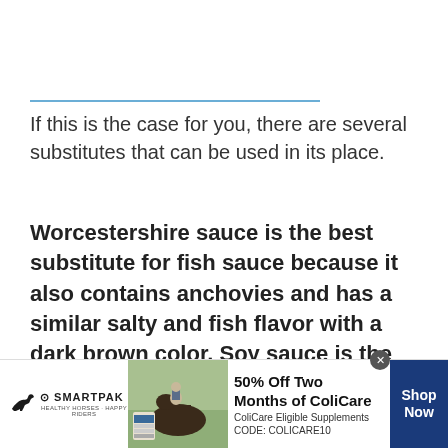If this is the case for you, there are several substitutes that can be used in its place.
Worcestershire sauce is the best substitute for fish sauce because it also contains anchovies and has a similar salty and fish flavor with a dark brown color. Soy sauce is the best fish-free alternative to fish sauce
[Figure (other): SmartPak advertisement banner showing a horse and rider with text '50% Off Two Months of ColiCare, ColiCare Eligible Supplements, CODE: COLICARE10' and a 'Shop Now' button]